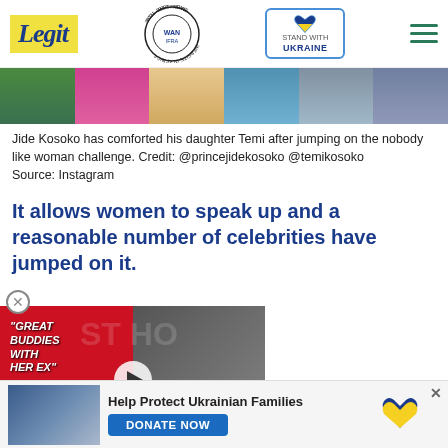Legit | WAN IFRA 2021 Best News Website in Africa | Stand With Ukraine
[Figure (photo): Partial photo strip showing people in colorful clothing]
Jide Kosoko has comforted his daughter Temi after jumping on the nobody like woman challenge. Credit: @princejidekosoko @temikosoko
Source: Instagram
It allows women to speak up and a reasonable number of celebrities have jumped on it.
[Figure (screenshot): Video player with text 'GREAT BUDDIES WITH HER EX' on red/dark background, play button, minimize button]
[Figure (infographic): Ad banner: Help Protect Ukrainian Families - DONATE NOW with Ukrainian flag heart icon]